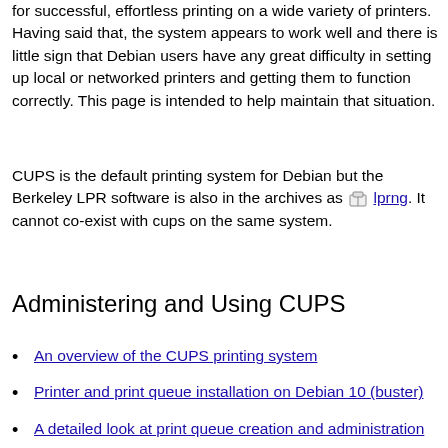for successful, effortless printing on a wide variety of printers. Having said that, the system appears to work well and there is little sign that Debian users have any great difficulty in setting up local or networked printers and getting them to function correctly. This page is intended to help maintain that situation.
CUPS is the default printing system for Debian but the Berkeley LPR software is also in the archives as [pkg icon] lprng. It cannot co-exist with cups on the same system.
Administering and Using CUPS
An overview of the CUPS printing system
Printer and print queue installation on Debian 10 (buster)
A detailed look at print queue creation and administration